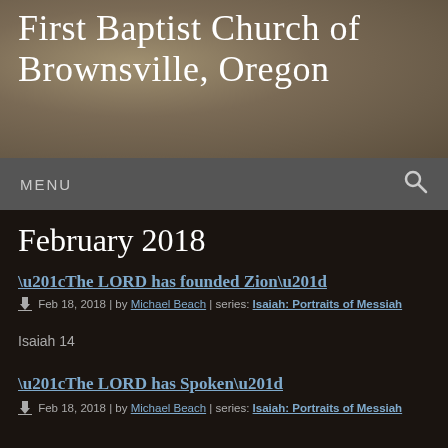First Baptist Church of Brownsville, Oregon
MENU
February 2018
“The LORD has founded Zion” | Feb 18, 2018 | by Michael Beach | series: Isaiah: Portraits of Messiah | Isaiah 14
“The LORD has Spoken” | Feb 18, 2018 | by Michael Beach | series: Isaiah: Portraits of Messiah